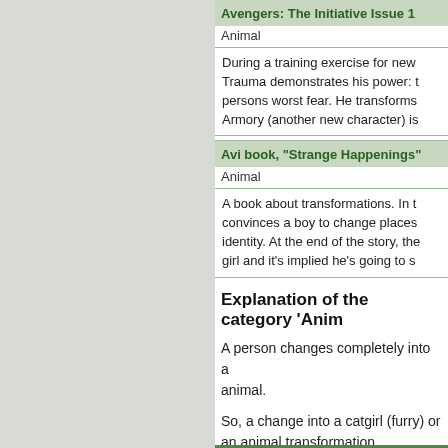Avengers: The Initiative Issue 1 Animal
During a training exercise for new Trauma demonstrates his power: t persons worst fear. He transforms Armory (another new character) is
Avi book, "Strange Happenings" Animal
A book about transformations. In t convinces a boy to change places identity. At the end of the story, the girl and it's implied he's going to s
Explanation of the category 'Anim
A person changes completely into a animal.
So, a change into a catgirl (furry) or an animal transformation.
[Edit this Page]